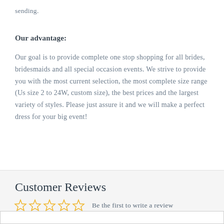sending.
Our advantage:
Our goal is to provide complete one stop shopping for all brides, bridesmaids and all special occasion events. We strive to provide you with the most current selection, the most complete size range (Us size 2 to 24W, custom size), the best prices and the largest variety of styles. Please just assure it and we will make a perfect dress for your big event!
Customer Reviews
☆☆☆☆☆  Be the first to write a review